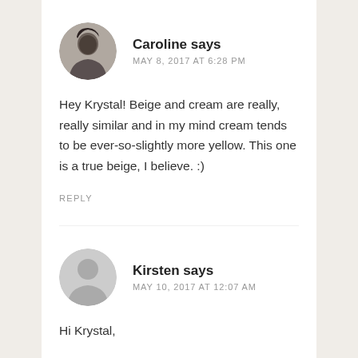Caroline says
MAY 8, 2017 AT 6:28 PM
Hey Krystal! Beige and cream are really, really similar and in my mind cream tends to be ever-so-slightly more yellow. This one is a true beige, I believe. :)
REPLY
Kirsten says
MAY 10, 2017 AT 12:07 AM
Hi Krystal,